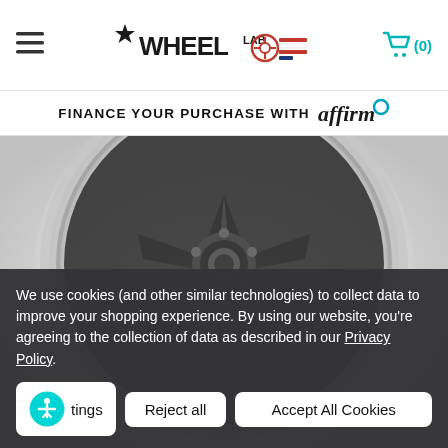Wheel Lab — navigation header with hamburger menu, logo, and cart (0)
FINANCE YOUR PURCHASE WITH affirm
[Figure (photo): Close-up photo of a chrome and dark automotive wheel/rim with five spokes, blurred background]
We use cookies (and other similar technologies) to collect data to improve your shopping experience. By using our website, you're agreeing to the collection of data as described in our Privacy Policy.
Cookies Settings | Reject all | Accept All Cookies